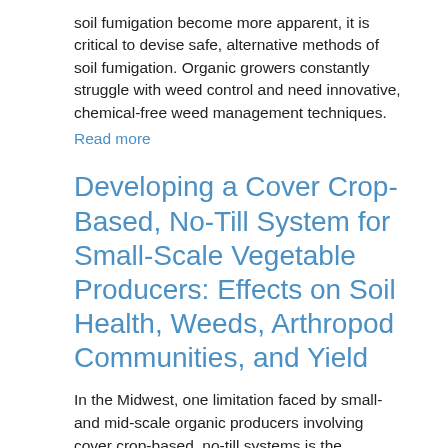soil fumigation become more apparent, it is critical to devise safe, alternative methods of soil fumigation. Organic growers constantly struggle with weed control and need innovative, chemical-free weed management techniques.
Read more
Developing a Cover Crop-Based, No-Till System for Small-Scale Vegetable Producers: Effects on Soil Health, Weeds, Arthropod Communities, and Yield
In the Midwest, one limitation faced by small- and mid-scale organic producers involving cover crop-based, no-till systems is the expense associated with equipment such as a roller crimper needed to terminate the cover crop for spring planting. Thus, the development of an effective no-till system that does not require the use of expensive equipment would